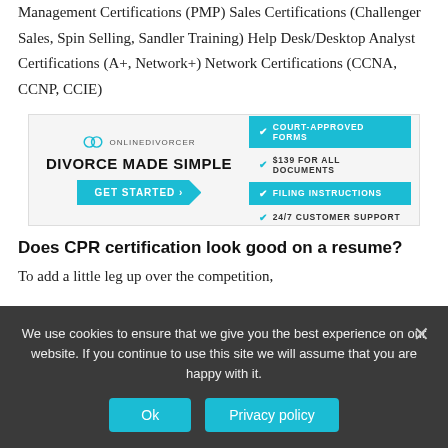Management Certifications (PMP) Sales Certifications (Challenger Sales, Spin Selling, Sandler Training) Help Desk/Desktop Analyst Certifications (A+, Network+) Network Certifications (CCNA, CCNP, CCIE)
[Figure (infographic): OnlineDivorcer advertisement banner with logo, 'DIVORCE MADE SIMPLE' heading, GET STARTED button, and four feature bullet points: COURT-APPROVED FORMS, $139 FOR ALL DOCUMENTS, FILING INSTRUCTIONS, 24/7 CUSTOMER SUPPORT]
Does CPR certification look good on a resume?
To add a little leg up over the competition,
We use cookies to ensure that we give you the best experience on our website. If you continue to use this site we will assume that you are happy with it.
Ok   Privacy policy